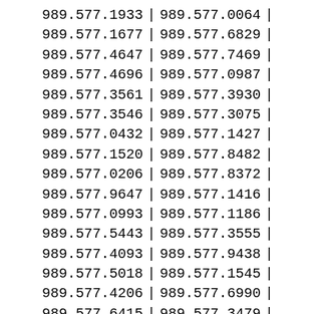| Col1 | Sep | Col2 | Sep2 |
| --- | --- | --- | --- |
| 989.577.1933 | | | 989.577.0064 | | |
| 989.577.1677 | | | 989.577.6829 | | |
| 989.577.4647 | | | 989.577.7469 | | |
| 989.577.4696 | | | 989.577.0987 | | |
| 989.577.3561 | | | 989.577.3930 | | |
| 989.577.3546 | | | 989.577.3075 | | |
| 989.577.0432 | | | 989.577.1427 | | |
| 989.577.1520 | | | 989.577.8482 | | |
| 989.577.0206 | | | 989.577.8372 | | |
| 989.577.9647 | | | 989.577.1416 | | |
| 989.577.0993 | | | 989.577.1186 | | |
| 989.577.5443 | | | 989.577.3555 | | |
| 989.577.4093 | | | 989.577.9438 | | |
| 989.577.5018 | | | 989.577.1545 | | |
| 989.577.4206 | | | 989.577.6990 | | |
| 989.577.6415 | | | 989.577.3479 | | |
| 989.577.3624 | | | 989.577.3022 | | |
| 989.577.2205 | | | 989.577.0179 | | |